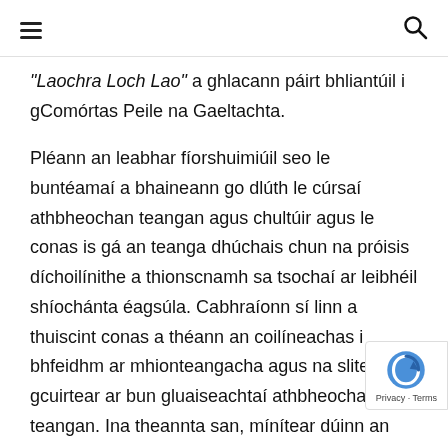☰ [menu icon] | [search icon]
“Laochra Loch Lao” a ghlacann páirt bhliantúil i gComórtas Peile na Gaeltachta.
Pléann an leabhar fíorshuimiúil seo le buntéamaí a bhaineann go dlúth le cúrsaí athbheochan teangan agus chultúir agus le conas is gá an teanga dhúchais chun na próisis díchoilínithe a thionscnamh sa tsochaí ar leibhéil shíochánta éagsúla. Cabhraíonn sí linn a thuiscint conas a théann an coilíneachas i bhfeidhm ar mhionteangacha agus na slite go gcuirtear ar bun gluaiseachtaí athbheochana teangan. Ina theannta san, mínítear dúinn an tábhacht a bhain lena raibh siúl sna príosúin agus conas mar a bhí sé seo fite fuaite lena raibh ar siúl sna pobail lasmuigh. Tá an